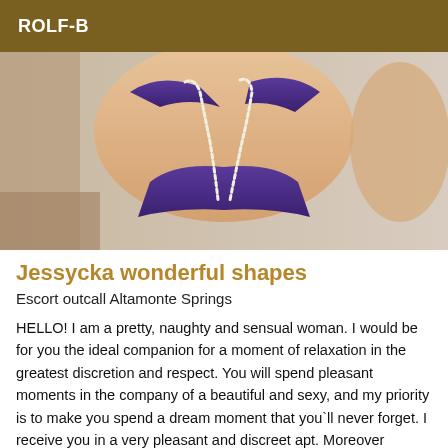ROLF-B
[Figure (photo): Photo of a woman in purple lingerie with pearl necklace, cropped to torso area]
Jessycka wonderful shapes
Escort outcall Altamonte Springs
HELLO! I am a pretty, naughty and sensual woman. I would be for you the ideal companion for a moment of relaxation in the greatest discretion and respect. You will spend pleasant moments in the company of a beautiful and sexy, and my priority is to make you spend a dream moment that you`ll never forget. I receive you in a very pleasant and discreet apt. Moreover hygiene is guaranteed and requested, call me! No sms and no